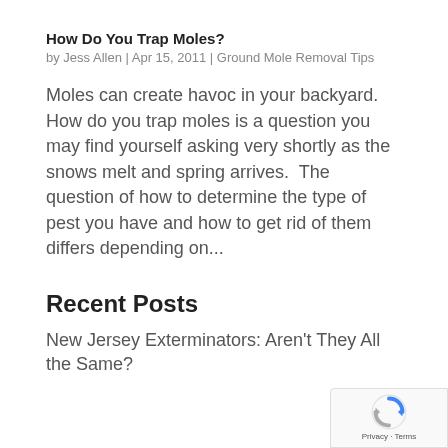How Do You Trap Moles?
by Jess Allen | Apr 15, 2011 | Ground Mole Removal Tips
Moles can create havoc in your backyard. How do you trap moles is a question you may find yourself asking very shortly as the snows melt and spring arrives.  The question of how to determine the type of pest you have and how to get rid of them differs depending on...
Recent Posts
New Jersey Exterminators: Aren't They All the Same?
[Figure (logo): Google reCAPTCHA badge with reCAPTCHA icon and Privacy - Terms text]